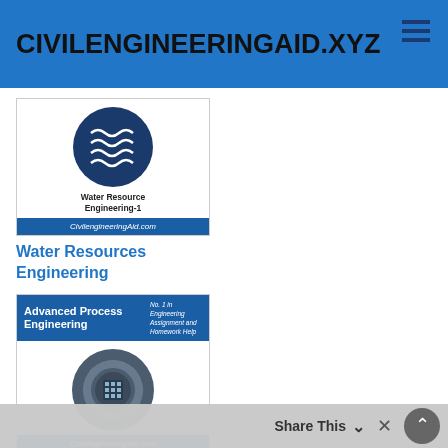CIVILENGINEERINGAID.XYZ
[Figure (illustration): Water Resource Engineering-1 card with wave icon and CivilengineeringAid.com footer]
Water Resources Engineering
[Figure (illustration): Advanced Process Engineering card with gear/processor icon and CivilengineeringAid.com footer, No. 1 in Engineering Assignment and Homework Help]
Advanced Process Engineering
Share This